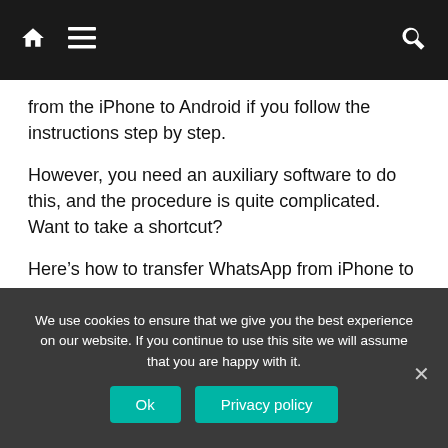Navigation bar with home, menu, and search icons
from the iPhone to Android if you follow the instructions step by step.
However, you need an auxiliary software to do this, and the procedure is quite complicated. Want to take a shortcut?
Here’s how to transfer WhatsApp from iPhone to Android using Wazzapmigrator:
Iphone data backup on PC using iTunes
We use cookies to ensure that we give you the best experience on our website. If you continue to use this site we will assume that you are happy with it.